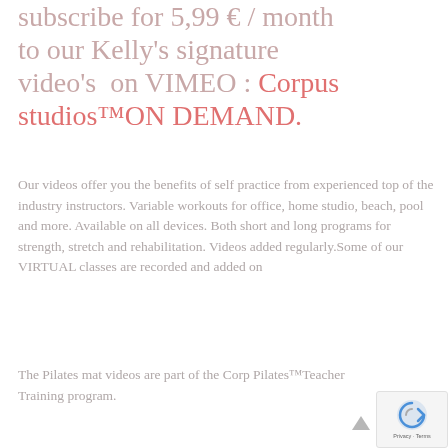subscribe for 5,99 € / month to our Kelly's signature video's  on VIMEO : Corpus studios™ON DEMAND.
Our videos offer you the benefits of self practice from experienced top of the industry instructors. Variable workouts for office, home studio, beach, pool and more. Available on all devices. Both short and long programs for strength, stretch and rehabilitation. Videos added regularly.Some of our VIRTUAL classes are recorded and added on
The Pilates mat videos are part of the Corp Pilates™Teacher Training program.